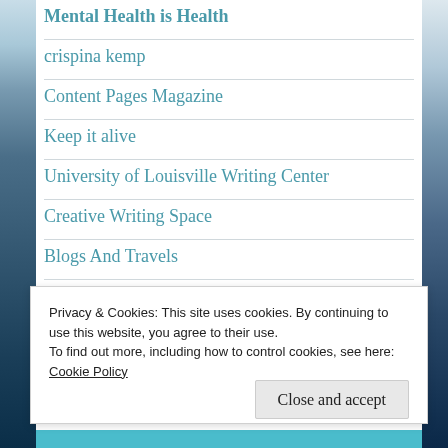Mental Health is Health
crispina kemp
Content Pages Magazine
Keep it alive
University of Louisville Writing Center
Creative Writing Space
Blogs And Travels
Annette Rochelle Aben
Privacy & Cookies: This site uses cookies. By continuing to use this website, you agree to their use.
To find out more, including how to control cookies, see here: Cookie Policy
Close and accept